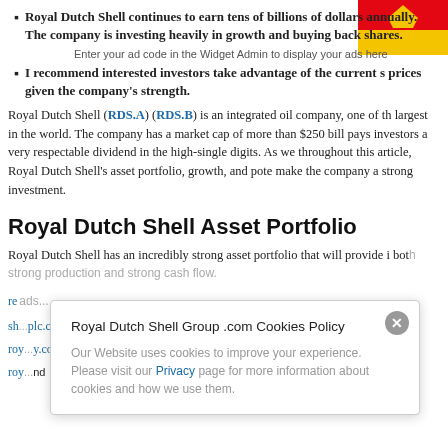Royal Dutch Shell continues to earn tens of billions of dollars annually. The company is investing heavily in growth and buying back shares.
I recommend interested investors take advantage of the current s prices given the company's strength.
Royal Dutch Shell (RDS.A) (RDS.B) is an integrated oil company, one of the largest in the world. The company has a market cap of more than $250 billion and pays investors a very respectable dividend in the high-single digits. As we will see throughout this article, Royal Dutch Shell's asset portfolio, growth, and potential make the company a strong investment.
Royal Dutch Shell Asset Portfolio
Royal Dutch Shell has an incredibly strong asset portfolio that will provide it both strong production and strong cash flow.
Royal Dutch Shell Group .com Cookies Policy
Our Website uses cookies to improve your experience. Please visit our Privacy page for more information about cookies and how we use them.